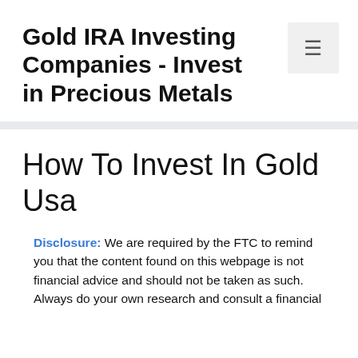Gold IRA Investing Companies - Invest in Precious Metals
Disclosure: We are required by the FTC to remind you that the content found on this webpage is not financial advice and should not be taken as such. Always do your own research and consult a financial
How To Invest In Gold Usa